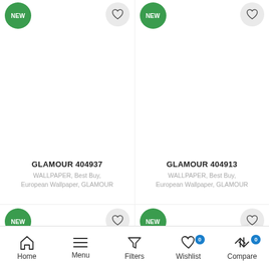[Figure (screenshot): Product listing page showing two columns of wallpaper products with NEW badges and wishlist heart icons]
GLAMOUR 404937
WALLPAPER, Best Buy, European Wallpaper, GLAMOUR
GLAMOUR 404913
WALLPAPER, Best Buy, European Wallpaper, GLAMOUR
Home  Menu  Filters  Wishlist 0  Compare 0